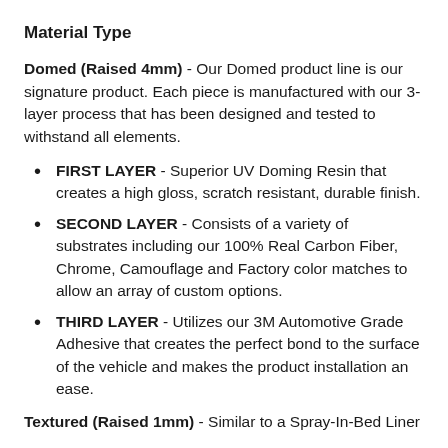Material Type
Domed (Raised 4mm) - Our Domed product line is our signature product. Each piece is manufactured with our 3-layer process that has been designed and tested to withstand all elements.
FIRST LAYER - Superior UV Doming Resin that creates a high gloss, scratch resistant, durable finish.
SECOND LAYER - Consists of a variety of substrates including our 100% Real Carbon Fiber, Chrome, Camouflage and Factory color matches to allow an array of custom options.
THIRD LAYER - Utilizes our 3M Automotive Grade Adhesive that creates the perfect bond to the surface of the vehicle and makes the product installation an ease.
Textured (Raised 1mm) - Similar to a Spray-In-Bed Liner